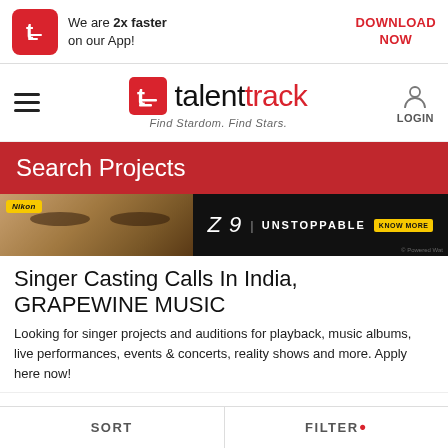[Figure (screenshot): App download banner with red icon showing letter t, text 'We are 2x faster on our App!' and red 'DOWNLOAD NOW' link]
[Figure (logo): Talentrack logo with hamburger menu, red t icon, 'talent' in black and 'track' in red, tagline 'Find Stardom. Find Stars.' and LOGIN button]
Search Projects
[Figure (photo): Nikon Z9 UNSTOPPABLE advertisement banner with close-up of woman's eyes on dark background]
Singer Casting Calls In India, GRAPEWINE MUSIC
Looking for singer projects and auditions for playback, music albums, live performances, events & concerts, reality shows and more. Apply here now!
SORT   FILTER